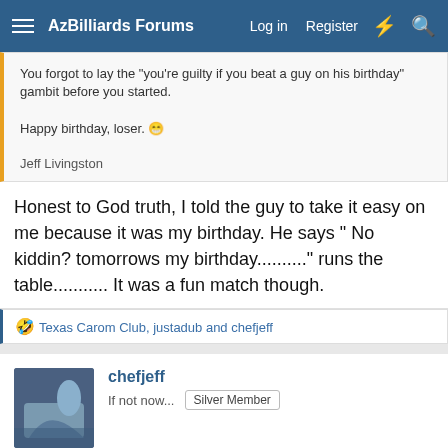AzBilliards Forums — Log in  Register
You forgot to lay the "you're guilty if you beat a guy on his birthday" gambit before you started.

Happy birthday, loser. 😁

Jeff Livingston
Honest to God truth, I told the guy to take it easy on me because it was my birthday. He says " No kiddin? tomorrows my birthday.........." runs the table........... It was a fun match though.
🤣 Texas Carom Club, justadub and chefjeff
chefjeff
If not now...
Silver Member
Dec 10, 2021
#4,639